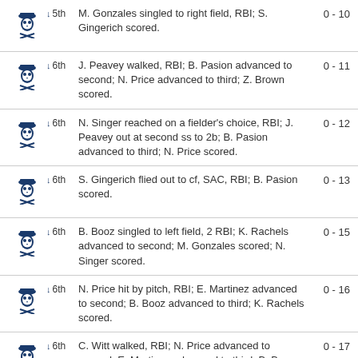↓ 5th | M. Gonzales singled to right field, RBI; S. Gingerich scored. | 0 - 10
↓ 6th | J. Peavey walked, RBI; B. Pasion advanced to second; N. Price advanced to third; Z. Brown scored. | 0 - 11
↓ 6th | N. Singer reached on a fielder's choice, RBI; J. Peavey out at second ss to 2b; B. Pasion advanced to third; N. Price scored. | 0 - 12
↓ 6th | S. Gingerich flied out to cf, SAC, RBI; B. Pasion scored. | 0 - 13
↓ 6th | B. Booz singled to left field, 2 RBI; K. Rachels advanced to second; M. Gonzales scored; N. Singer scored. | 0 - 15
↓ 6th | N. Price hit by pitch, RBI; E. Martinez advanced to second; B. Booz advanced to third; K. Rachels scored. | 0 - 16
↓ 6th | C. Witt walked, RBI; N. Price advanced to second; E. Martinez advanced to third; B. Booz scored. | 0 - 17
↓ 6th | A. Shaw walked, RBI; F. Sito advanced to second; K. | 1 - 17